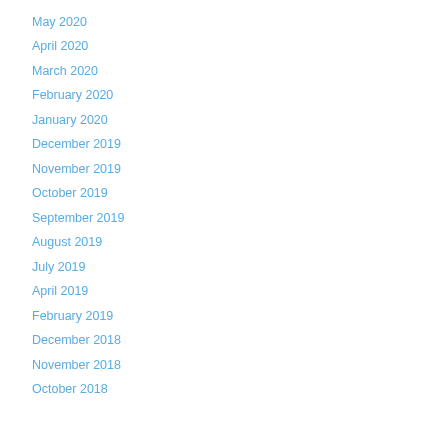May 2020
April 2020
March 2020
February 2020
January 2020
December 2019
November 2019
October 2019
September 2019
August 2019
July 2019
April 2019
February 2019
December 2018
November 2018
October 2018